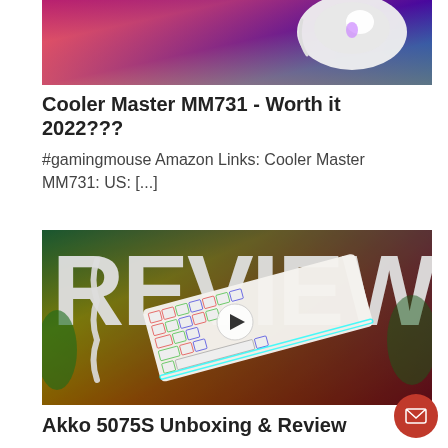[Figure (photo): Colorful RGB gaming mouse on a vibrant multicolored background, white mouse visible against pink/blue/purple light]
Cooler Master MM731 - Worth it 2022???
#gamingmouse Amazon Links: Cooler Master MM731: US: [...]
[Figure (photo): White Akko 5075S mechanical keyboard with RGB backlighting shown at an angle on a colorful background with the word REVIEW in large white letters. A play button overlay is visible in the center.]
Akko 5075S Unboxing & Review